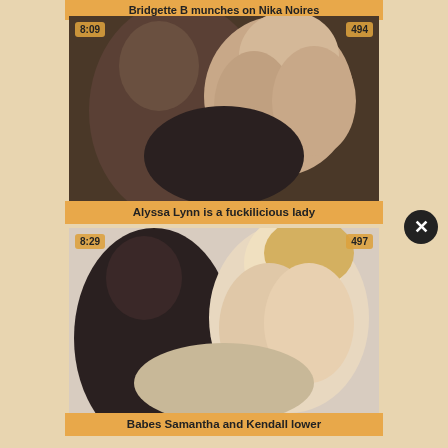Bridgette B munches on Nika Noires
[Figure (photo): Video thumbnail showing two people, duration badge 8:09, view count badge 494]
Alyssa Lynn is a fuckilicious lady
[Figure (photo): Video thumbnail showing two women, duration badge 8:29, view count badge 497]
Babes Samantha and Kendall lower